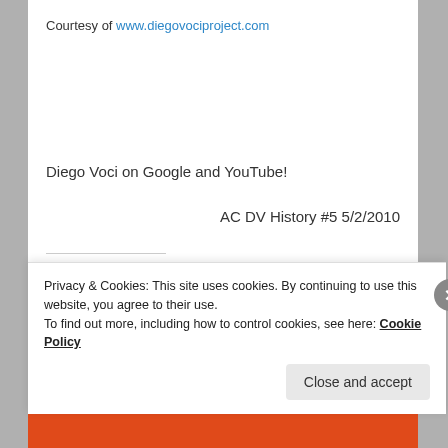Courtesy of www.diegovociproject.com
Diego Voci on Google and YouTube!
AC DV History #5 5/2/2010
SHARE THIS:
Email  Twitter  Facebook  Tumblr
Privacy & Cookies: This site uses cookies. By continuing to use this website, you agree to their use.
To find out more, including how to control cookies, see here: Cookie Policy
Close and accept